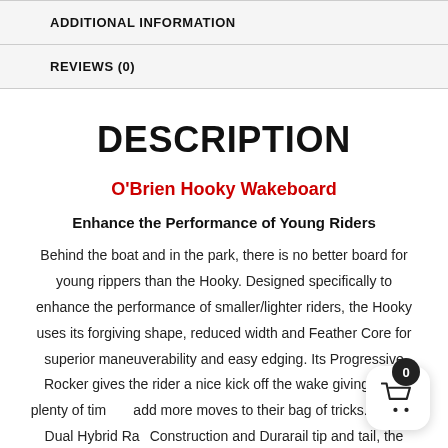ADDITIONAL INFORMATION
REVIEWS (0)
DESCRIPTION
O'Brien Hooky Wakeboard
Enhance the Performance of Young Riders
Behind the boat and in the park, there is no better board for young rippers than the Hooky. Designed specifically to enhance the performance of smaller/lighter riders, the Hooky uses its forgiving shape, reduced width and Feather Core for superior maneuverability and easy edging. Its Progressive Rocker gives the rider a nice kick off the wake giving them plenty of time to add more moves to their bag of tricks. With its Dual Hybrid Rail Construction and Durarail tip and tail, the Hooky can also handle your local cable park with ease. These features make the board